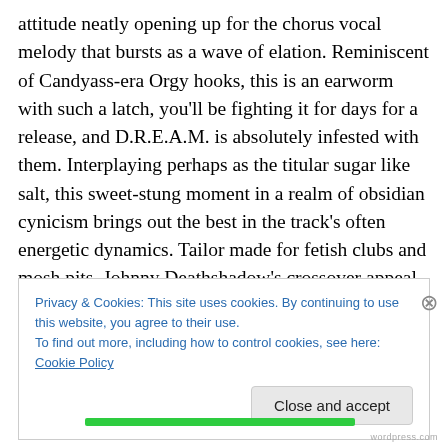attitude neatly opening up for the chorus vocal melody that bursts as a wave of elation. Reminiscent of Candyass-era Orgy hooks, this is an earworm with such a latch, you'll be fighting it for days for a release, and D.R.E.A.M. is absolutely infested with them. Interplaying perhaps as the titular sugar like salt, this sweet-stung moment in a realm of obsidian cynicism brings out the best in the track's often energetic dynamics. Tailor made for fetish clubs and mosh pits, Johnny Deathshadow's crossover appeal has scarcely begun to be realised, with a unique appearance and a fearsome live and recorded repetoire in tow, these
Privacy & Cookies: This site uses cookies. By continuing to use this website, you agree to their use.
To find out more, including how to control cookies, see here: Cookie Policy
Close and accept